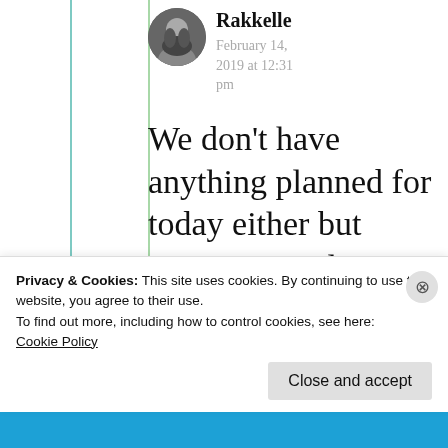Rakkelle
February 14, 2019 at 12:31 pm
We don't have anything planned for today either but tomorrow I plan to sit with him in the car for an hour and
Privacy & Cookies: This site uses cookies. By continuing to use this website, you agree to their use.
To find out more, including how to control cookies, see here:
Cookie Policy
Close and accept